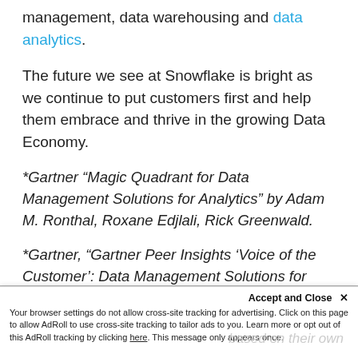management, data warehousing and data analytics.
The future we see at Snowflake is bright as we continue to put customers first and help them embrace and thrive in the growing Data Economy.
*Gartner “Magic Quadrant for Data Management Solutions for Analytics” by Adam M. Ronthal, Roxane Edjlali, Rick Greenwald.
*Gartner, “Gartner Peer Insights ‘Voice of the Customer’: Data Management Solutions for Analytics Market,” Peer Contributors. August 6, 2018.
Gartner Disclaimers
Accept and Close × Your browser settings do not allow cross-site tracking for advertising. Click on this page to allow AdRoll to use cross-site tracking to tailor ads to you. Learn more or opt out of this AdRoll tracking by clicking here. This message only appears once.